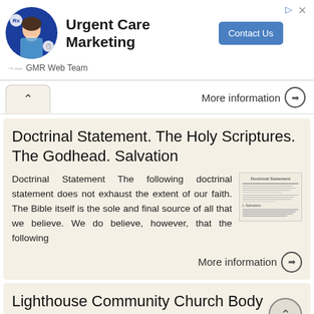[Figure (illustration): Advertisement banner for Urgent Care Marketing by GMR Web Team, featuring a person in medical attire, a Contact Us button, and navigation icons.]
More information →
Doctrinal Statement. The Holy Scriptures. The Godhead. Salvation
Doctrinal Statement The following doctrinal statement does not exhaust the extent of our faith. The Bible itself is the sole and final source of all that we believe. We do believe, however, that the following
[Figure (screenshot): Thumbnail image of a document with text lines representing a doctrinal statement document.]
More information →
Lighthouse Community Church Body Life 2017